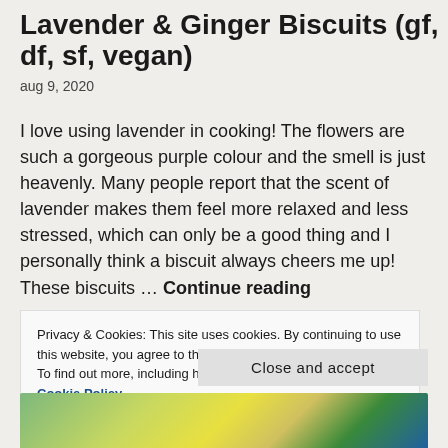Lavender & Ginger Biscuits (gf, df, sf, vegan)
aug 9, 2020
I love using lavender in cooking! The flowers are such a gorgeous purple colour and the smell is just heavenly. Many people report that the scent of lavender makes them feel more relaxed and less stressed, which can only be a good thing and I personally think a biscuit always cheers me up! These biscuits … Continue reading
Privacy & Cookies: This site uses cookies. By continuing to use this website, you agree to their use.
To find out more, including how to control cookies, see here: Cookie Policy
Close and accept
[Figure (photo): Bottom portion of a food photo showing colorful biscuits or cookies]